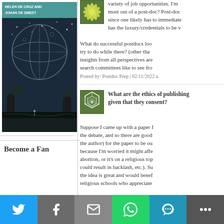[Figure (illustration): Book cover with intricate engraving-style illustration of a night sky, celestial sphere, trees, with author names HELEN DE CRUZ AND JOHAN DE SMEDT at top in teal/dark band]
Become a Fan
variety of job opportunities. I'm most out of a post-doc? Post-doc since one likely has to immediate has the luxury/credentials to be v
[Figure (illustration): Small square icon with yellow/green starburst flower pattern on green background]
What do successful postdocs loo try to do while there? (other tha insights from all perspectives are search committees like to see fro
Posted by: Postdoc Prep | 02/11/2022 a
[Figure (illustration): Small square icon with geometric cell/polygon pattern in olive green and white on green background]
What are the ethics of publishing given that they consent?
Suppose I came up with a paper f the debate, and so there are good the author) for the paper to be ou because I'm worried it might affe abortion, or it's on a religious top could result in backlash, etc.). Su the idea is great and would benef religious schools who appreciate
In short, we think it is good for th
[Figure (infographic): Share bar at bottom with Twitter (blue), Facebook (gray), Email (gray), WhatsApp (green), SMS (teal), More (dark gray) buttons with white icons]